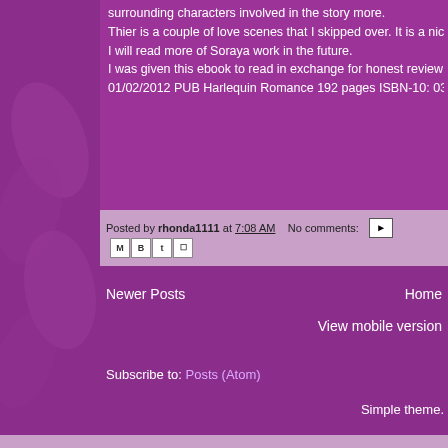surrounding characters involved in the story more.
Thier is a couple of love scenes that I skipped over. It is a nice ...
I will read more of Soraya work in the future.
I was given this ebook to read in exchange for honest review fro...
01/02/2012 PUB Harlequin Romance 192 pages ISBN-10: 0373...
Posted by rhonda1111 at 7:08 AM   No comments:
Newer Posts
Home
View mobile version
Subscribe to: Posts (Atom)
Simple theme.